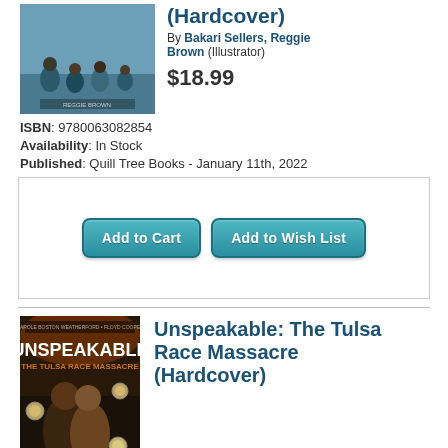[Figure (photo): Book cover of a children's book showing children playing outdoors on a teal/blue background, with text 'REGGIE BROWN' visible at bottom]
(Hardcover)
By Bakari Sellers, Reggie Brown (Illustrator)
$18.99
ISBN: 9780063082854
Availability: In Stock
Published: Quill Tree Books - January 11th, 2022
Add to Cart | Add to Wish List
[Figure (photo): Book cover of 'Unspeakable: The Tulsa Race Massacre' showing illustrated figures of Black individuals against a dramatic background, with award medals visible]
Unspeakable: The Tulsa Race Massacre (Hardcover)